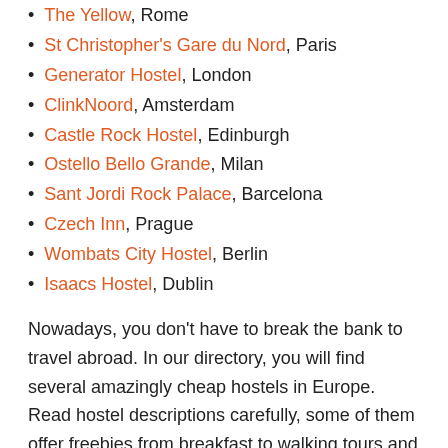The Yellow, Rome
St Christopher's Gare du Nord, Paris
Generator Hostel, London
ClinkNoord, Amsterdam
Castle Rock Hostel, Edinburgh
Ostello Bello Grande, Milan
Sant Jordi Rock Palace, Barcelona
Czech Inn, Prague
Wombats City Hostel, Berlin
Isaacs Hostel, Dublin
Nowadays, you don’t have to break the bank to travel abroad. In our directory, you will find several amazingly cheap hostels in Europe. Read hostel descriptions carefully, some of them offer freebies from breakfast to walking tours and yoga lessons. If you don’t want to spend much on activities either, here are 50 things to do for free in Europe.